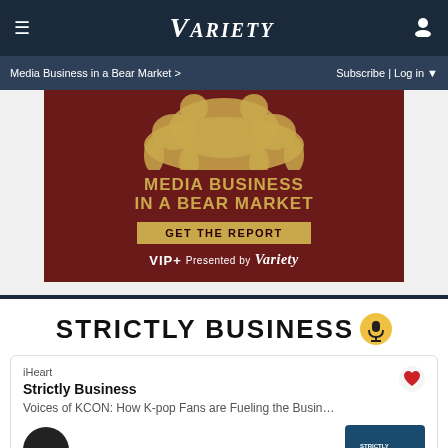Variety — Media Business in a Bear Market > | Subscribe | Log in
[Figure (illustration): Advertisement banner for 'Media Business in a Bear Market' report by Variety VIP+. Dark red background with a golden bear illustration at top. Text reads 'MEDIA BUSINESS IN A BEAR MARKET' with a 'GET THE REPORT' button. Footer: 'VIP+ Presented by VARIETY']
STRICTLY BUSINESS
iHeart
Strictly Business
Voices of KCON: How K-pop Fans are Fueling the Busin…